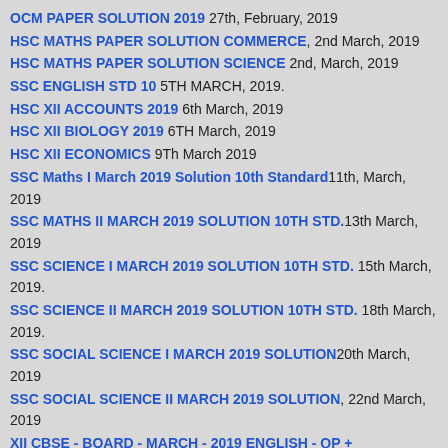OCM PAPER SOLUTION 2019 27th, February, 2019
HSC MATHS PAPER SOLUTION COMMERCE, 2nd March, 2019
HSC MATHS PAPER SOLUTION SCIENCE 2nd, March, 2019
SSC ENGLISH STD 10 5TH MARCH, 2019.
HSC XII ACCOUNTS 2019 6th March, 2019
HSC XII BIOLOGY 2019 6TH March, 2019
HSC XII ECONOMICS 9Th March 2019
SSC Maths I March 2019 Solution 10th Standard 11th, March, 2019
SSC MATHS II MARCH 2019 SOLUTION 10TH STD. 13th March, 2019
SSC SCIENCE I MARCH 2019 SOLUTION 10TH STD. 15th March, 2019.
SSC SCIENCE II MARCH 2019 SOLUTION 10TH STD. 18th March, 2019.
SSC SOCIAL SCIENCE I MARCH 2019 SOLUTION 20th March, 2019
SSC SOCIAL SCIENCE II MARCH 2019 SOLUTION, 22nd March, 2019
XII CBSE - BOARD - MARCH - 2019 ENGLISH - QP + SOLUTIONS, 2nd March, 2019